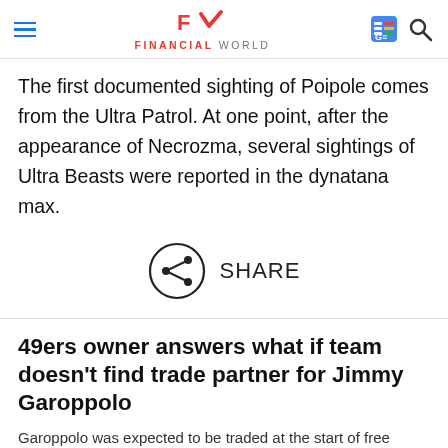FINANCIAL WORLD
The first documented sighting of Poipole comes from the Ultra Patrol. At one point, after the appearance of Necrozma, several sightings of Ultra Beasts were reported in the dynatana max.
[Figure (other): Share button icon — circle with share/network icon inside, labeled SHARE]
49ers owner answers what if team doesn't find trade partner for Jimmy Garoppolo
Garoppolo was expected to be traded at the start of free agency.